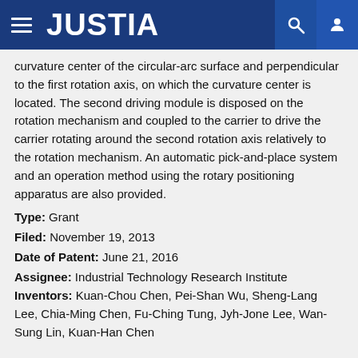JUSTIA
curvature center of the circular-arc surface and perpendicular to the first rotation axis, on which the curvature center is located. The second driving module is disposed on the rotation mechanism and coupled to the carrier to drive the carrier rotating around the second rotation axis relatively to the rotation mechanism. An automatic pick-and-place system and an operation method using the rotary positioning apparatus are also provided.
Type: Grant
Filed: November 19, 2013
Date of Patent: June 21, 2016
Assignee: Industrial Technology Research Institute
Inventors: Kuan-Chou Chen, Pei-Shan Wu, Sheng-Lang Lee, Chia-Ming Chen, Fu-Ching Tung, Jyh-Jone Lee, Wan-Sung Lin, Kuan-Han Chen